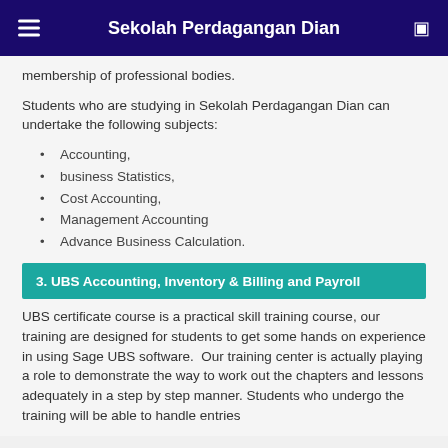Sekolah Perdagangan Dian
membership of professional bodies.
Students who are studying in Sekolah Perdagangan Dian can undertake the following subjects:
Accounting,
business Statistics,
Cost Accounting,
Management Accounting
Advance Business Calculation.
3. UBS Accounting, Inventory & Billing and Payroll
UBS certificate course is a practical skill training course, our training are designed for students to get some hands on experience in using Sage UBS software.  Our training center is actually playing a role to demonstrate the way to work out the chapters and lessons adequately in a step by step manner. Students who undergo the training will be able to handle entries